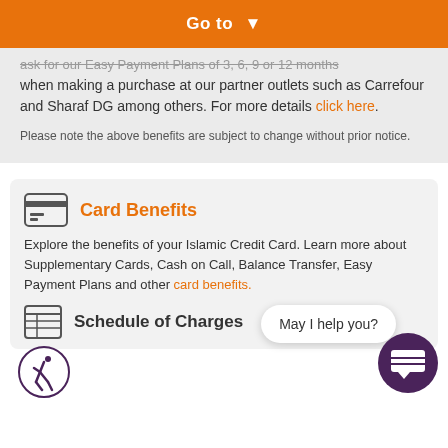[Figure (infographic): Orange navigation bar with 'Go to' text and chevron dropdown arrow]
ask for our Easy Payment Plans of 3, 6, 9 or 12 months when making a purchase at our partner outlets such as Carrefour and Sharaf DG among others. For more details click here.
Please note the above benefits are subject to change without prior notice.
Card Benefits
Explore the benefits of your Islamic Credit Card. Learn more about Supplementary Cards, Cash on Call, Balance Transfer, Easy Payment Plans and other card benefits.
Schedule of Charges